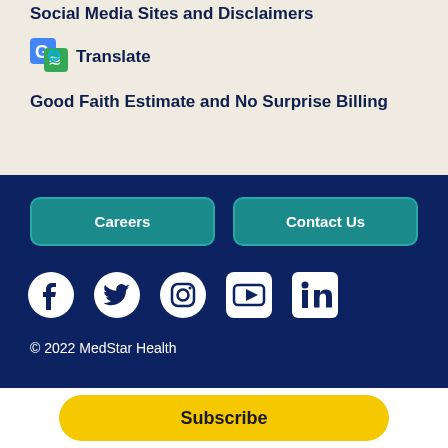Social Media Sites and Disclaimers
[Figure (logo): Google Translate icon with language symbol]
Translate
Good Faith Estimate and No Surprise Billing
Careers
Contact Us
[Figure (illustration): Social media icons: Facebook, Twitter, Instagram, YouTube, LinkedIn]
© 2022 MedStar Health
Subscribe